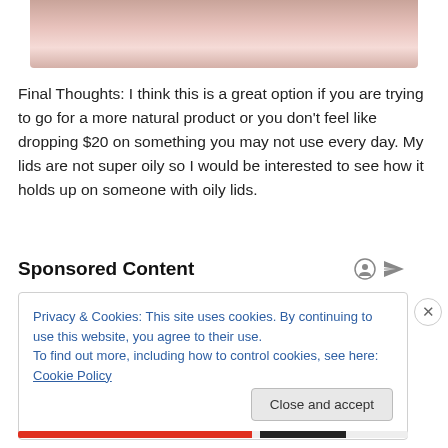[Figure (photo): Close-up photograph of skin (eyelids), showing pinkish skin texture at the top of the page, partially cropped.]
Final Thoughts: I think this is a great option if you are trying to go for a more natural product or you don't feel like dropping $20 on something you may not use every day. My lids are not super oily so I would be interested to see how it holds up on someone with oily lids.
Sponsored Content
Privacy & Cookies: This site uses cookies. By continuing to use this website, you agree to their use.
To find out more, including how to control cookies, see here: Cookie Policy